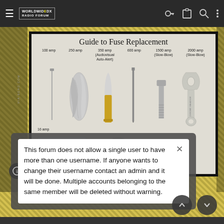WorldWideDX Radio Forum — navigation bar
[Figure (photo): Guide to Fuse Replacement showing various objects labeled as fuse replacements: 100 amp (small nail), 250 amp (crumpled foil), 350 amp Audiovisual Auto-Alert (rifle bullet/cartridge), 600 amp (large nail), 1500 amp Slow-Blow (bolt), 2000 amp Slow-Blow (wrench). Bottom row shows 16 amp (credit card/loyalty card) and a bottle opener.]
Guide to Fuse Replacement
This forum does not allow a single user to have more than one username. If anyone wants to change their username contact an admin and it will be done. Multiple accounts belonging to the same member will be deleted without warning.